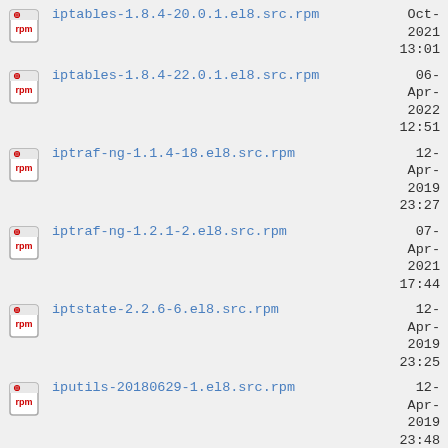iptables-1.8.4-20.0.1.el8.src.rpm  Oct-2021 13:01
iptables-1.8.4-22.0.1.el8.src.rpm  06-Apr-2022 12:51
iptraf-ng-1.1.4-18.el8.src.rpm  12-Apr-2019 23:27
iptraf-ng-1.2.1-2.el8.src.rpm  07-Apr-2021 17:44
iptstate-2.2.6-6.el8.src.rpm  12-Apr-2019 23:25
iputils-20180629-1.el8.src.rpm  12-Apr-2019 23:48
iputils-20180629-2.el8.src.rpm  10-Nov-2019 04:04
iputils-20180629-7.el8.src.rpm  08-Apr-2021